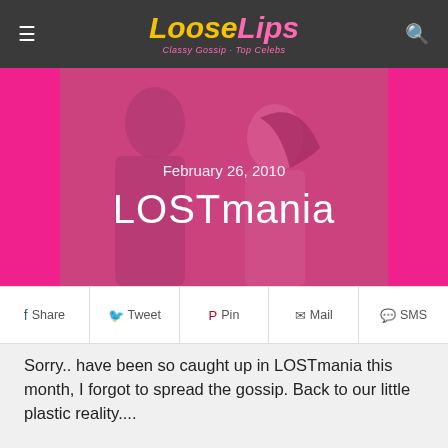Loose Lips — Classy Gossip, Top Celebs
[Figure (photo): Hero image of a couple with pink overlay, showing date February 26, 2010 and title LOSTmania]
LOSTmania
February 26, 2010
Share  Tweet  Pin  Mail  SMS
Sorry.. have been so caught up in LOSTmania this month, I forgot to spread the gossip. Back to our little plastic reality....
[Figure (photo): Photo of two people (man and woman) against a grey/blue background at the bottom of the article]